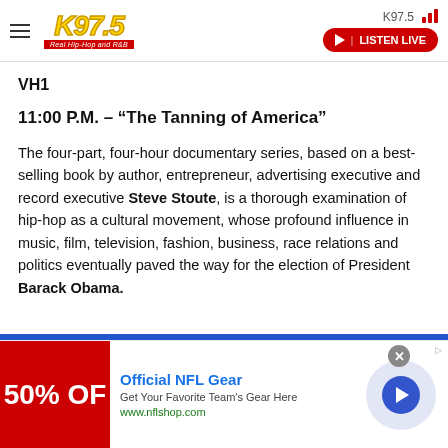K97.5 - Real Hip-Hop and R&B | LISTEN LIVE
VH1
11:00 P.M. – “The Tanning of America”
The four-part, four-hour documentary series, based on a best-selling book by author, entrepreneur, advertising executive and record executive Steve Stoute, is a thorough examination of hip-hop as a cultural movement, whose profound influence in music, film, television, fashion, business, race relations and politics eventually paved the way for the election of President Barack Obama.
[Figure (screenshot): Advertisement banner for Official NFL Gear showing 50% off sale with a red background, NFL gear promotional text, www.nflshop.com URL, and a blue circle arrow button]